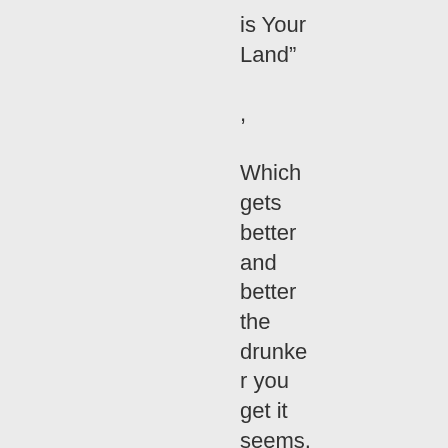is Your Land” , Which gets better and better the drunker you get it seems, LOL!
https://